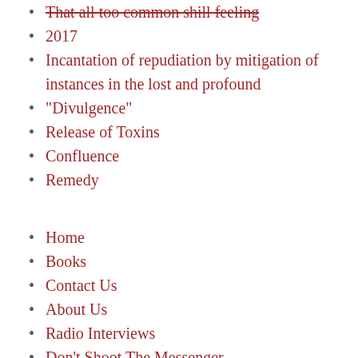That all too common shill feeling
2017
Incantation of repudiation by mitigation of instances in the lost and profound
“Divulgence”
Release of Toxins
Confluence
Remedy
Home
Books
Contact Us
About Us
Radio Interviews
Don’t Shoot The Messenger
Sound Encoding
Sound Encoding 1